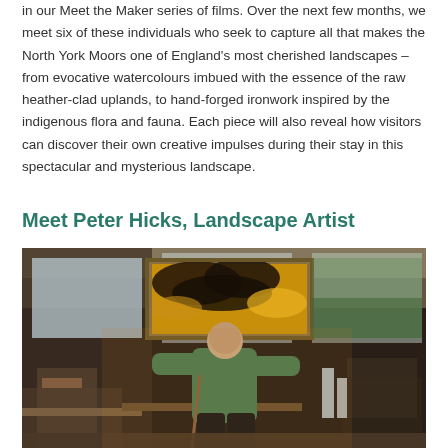in our Meet the Maker series of films. Over the next few months, we meet six of these individuals who seek to capture all that makes the North York Moors one of England's most cherished landscapes – from evocative watercolours imbued with the essence of the raw heather-clad uplands, to hand-forged ironwork inspired by the indigenous flora and fauna. Each piece will also reveal how visitors can discover their own creative impulses during their stay in this spectacular and mysterious landscape.
Meet Peter Hicks, Landscape Artist
[Figure (photo): Elderly man in a green sweater seated in an art studio, surrounded by paintings and art supplies. A large landscape painting with dark stormy skies and golden hues is visible behind him on the wall. The studio is cluttered with furniture, bottles, and art materials.]